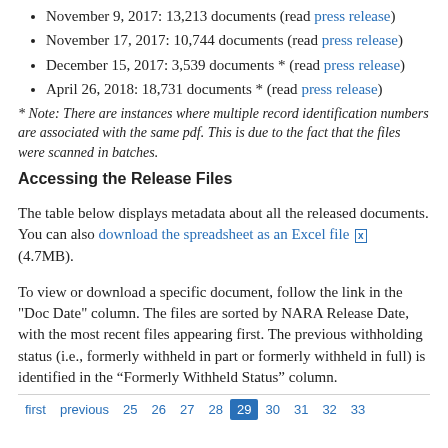November 9, 2017: 13,213 documents (read press release)
November 17, 2017: 10,744 documents (read press release)
December 15, 2017: 3,539 documents * (read press release)
April 26, 2018: 18,731 documents * (read press release)
* Note: There are instances where multiple record identification numbers are associated with the same pdf. This is due to the fact that the files were scanned in batches.
Accessing the Release Files
The table below displays metadata about all the released documents. You can also download the spreadsheet as an Excel file (4.7MB).
To view or download a specific document, follow the link in the "Doc Date" column. The files are sorted by NARA Release Date, with the most recent files appearing first. The previous withholding status (i.e., formerly withheld in part or formerly withheld in full) is identified in the “Formerly Withheld Status” column.
first  previous  25  26  27  28  29  30  31  32  33